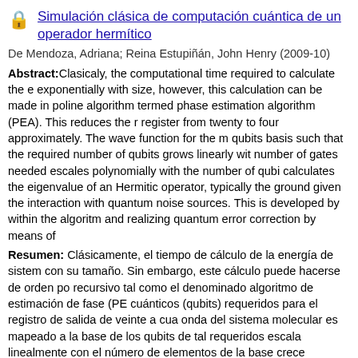Simulación clásica de computación cuántica de un operador hermítico
De Mendoza, Adriana; Reina Estupiñán, John Henry (2009-10)
Abstract: Clasicaly, the computational time required to calculate the eigenvalue of a molecular system scales exponentially with size, however, this calculation can be made in polynomial time by means of a quantum algorithm termed phase estimation algorithm (PEA). This reduces the number of qubits in the output register from twenty to four approximately. The wave function for the molecular system is mapped to a qubits basis such that the required number of qubits grows linearly with the number of basis elements and the number of gates needed escales polynomially with the number of qubits. This work shows a simulation that calculates the eigenvalue of an Hermitic operator, typically the ground state energy of a molecular system, given the interaction with quantum noise sources. This is developed by including decoherence channels within the algoritm and realizing quantum error correction by means of a recursive method.
Resumen: Clásicamente, el tiempo de cálculo de la energía de sistemas moleculares crece exponencialmente con su tamaño. Sin embargo, este cálculo puede hacerse de orden polinomial mediante un algoritmo cuántico recursivo tal como el denominado algoritmo de estimación de fase (PEA). Esto reduce el número de bits cuánticos (qubits) requeridos para el registro de salida de veinte a cuatro aproximadamente. El función de onda del sistema molecular es mapeado a la base de los qubits de tal forma que el número de qubits requeridos escala linealmente con el número de elementos de la base y el número de compuertas necesarias crece polinomialmente con el número de qubits. Este trabajo muestra una simulación que calcula el valor propio de un operador hermético, típicamente la energía del estado fundamental de un sistema molecular, dada la posible interacción con fuentes de ruido cuántico. Lo anterior se lleva a cabo incluyendo fuentes de disipación cuántica dentro del algoritmo y realizando corrección de errores cuánticos mediante un método recursivo.